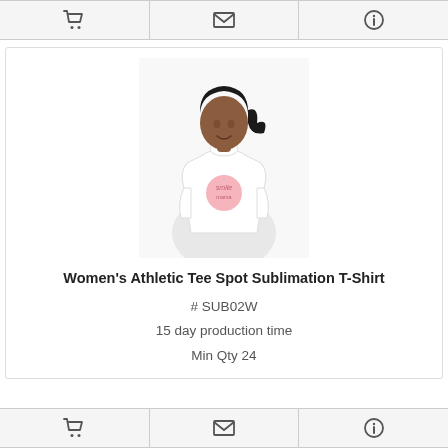[Figure (other): Top navigation toolbar with cart icon, envelope/mail icon, and info icon on grey background]
[Figure (photo): Woman wearing a white athletic t-shirt with pink circular logo on the chest, dark hair in ponytail, smiling]
Women's Athletic Tee Spot Sublimation T-Shirt
# SUB02W
15 day production time
Min Qty 24
[Figure (other): Bottom navigation toolbar with cart icon, envelope/mail icon, and info icon on grey background]